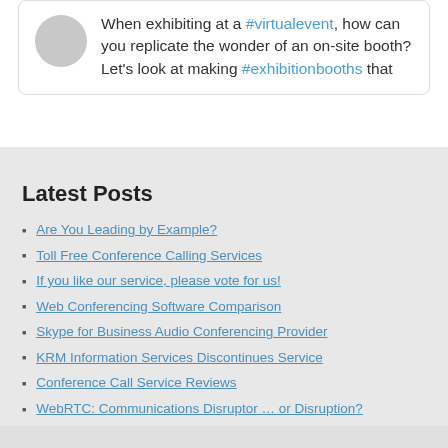When exhibiting at a #virtualevent, how can you replicate the wonder of an on-site booth? Let's look at making #exhibitionbooths that...
Latest Posts
Are You Leading by Example?
Toll Free Conference Calling Services
If you like our service, please vote for us!
Web Conferencing Software Comparison
Skype for Business Audio Conferencing Provider
KRM Information Services Discontinues Service
Conference Call Service Reviews
WebRTC: Communications Disruptor … or Disruption?
Why It Pays To Invest In Premium Conferencing Solutions
How to Join an Online Meeting